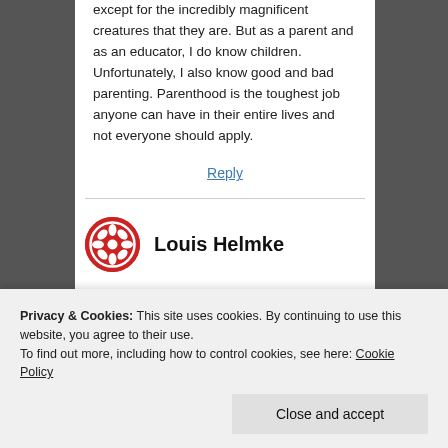except for the incredibly magnificent creatures that they are. But as a parent and as an educator, I do know children. Unfortunately, I also know good and bad parenting. Parenthood is the toughest job anyone can have in their entire lives and not everyone should apply.
Reply
[Figure (logo): Red circular ornamental logo icon for Louis Helmke]
Louis Helmke
Privacy & Cookies: This site uses cookies. By continuing to use this website, you agree to their use.
To find out more, including how to control cookies, see here: Cookie Policy
Close and accept